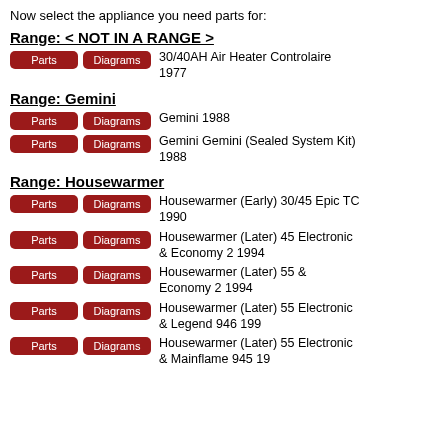Now select the appliance you need parts for:
Range: < NOT IN A RANGE >
30/40AH Air Heater Controlaire 1977
Range: Gemini
Gemini 1988
Gemini Gemini (Sealed System Kit) 1988
Range: Housewarmer
Housewarmer (Early) 30/45 Epic TC 1990
Housewarmer (Later) 45 Electronic & Economy 2 1994
Housewarmer (Later) 55 & Economy 2 1994
Housewarmer (Later) 55 Electronic & Legend 946 199
Housewarmer (Later) 55 Electronic & Mainflame 945 19